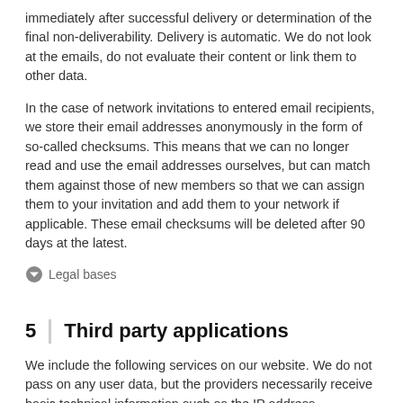immediately after successful delivery or determination of the final non-deliverability. Delivery is automatic. We do not look at the emails, do not evaluate their content or link them to other data.
In the case of network invitations to entered email recipients, we store their email addresses anonymously in the form of so-called checksums. This means that we can no longer read and use the email addresses ourselves, but can match them against those of new members so that we can assign them to your invitation and add them to your network if applicable. These email checksums will be deleted after 90 days at the latest.
Legal bases
5  Third party applications
We include the following services on our website. We do not pass on any user data, but the providers necessarily receive basic technical information such as the IP address.